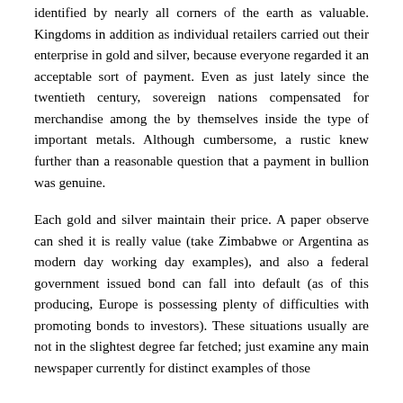identified by nearly all corners of the earth as valuable. Kingdoms in addition as individual retailers carried out their enterprise in gold and silver, because everyone regarded it an acceptable sort of payment. Even as just lately since the twentieth century, sovereign nations compensated for merchandise among the by themselves inside the type of important metals. Although cumbersome, a rustic knew further than a reasonable question that a payment in bullion was genuine.
Each gold and silver maintain their price. A paper observe can shed it is really value (take Zimbabwe or Argentina as modern day working day examples), and also a federal government issued bond can fall into default (as of this producing, Europe is possessing plenty of difficulties with promoting bonds to investors). These situations usually are not in the slightest degree far fetched; just examine any main newspaper currently for distinct examples of those